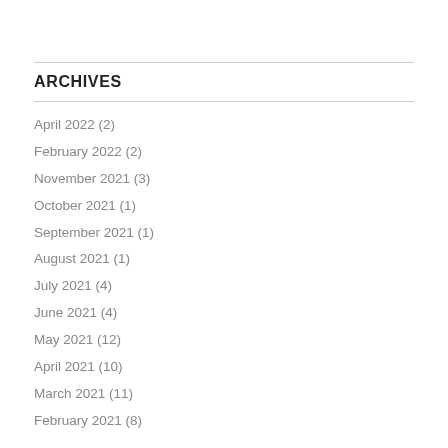ARCHIVES
April 2022 (2)
February 2022 (2)
November 2021 (3)
October 2021 (1)
September 2021 (1)
August 2021 (1)
July 2021 (4)
June 2021 (4)
May 2021 (12)
April 2021 (10)
March 2021 (11)
February 2021 (8)